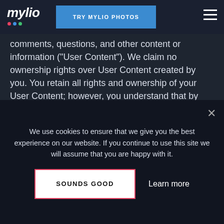mylio | TRY MYLIO PHOTOS
comments, questions, and other content or information (“User Content”). We claim no ownership rights over User Content created by you. You retain all rights and ownership of your User Content; however, you understand that by sharing User Content with other users through the Software and Services, you agree to allow those other users to view, edit, and/or share your User Content in accordance with your settings and this Agreement. We have the right (but not the obligation) in our sole discretion to remove any User Content that is shared via the Software or
We use cookies to ensure that we give you the best experience on our website. If you continue to use this site we will assume that you are happy with it.
SOUNDS GOOD
Learn more